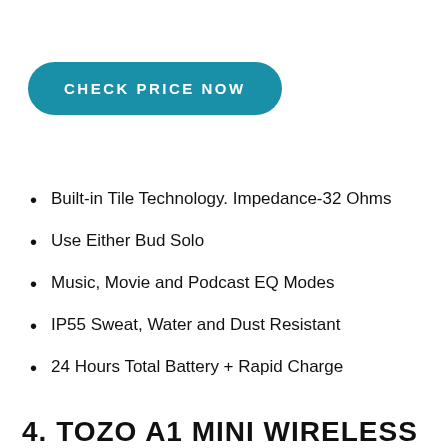CHECK PRICE NOW
Built-in Tile Technology. Impedance-32 Ohms
Use Either Bud Solo
Music, Movie and Podcast EQ Modes
IP55 Sweat, Water and Dust Resistant
24 Hours Total Battery + Rapid Charge
4. TOZO A1 MINI WIRELESS